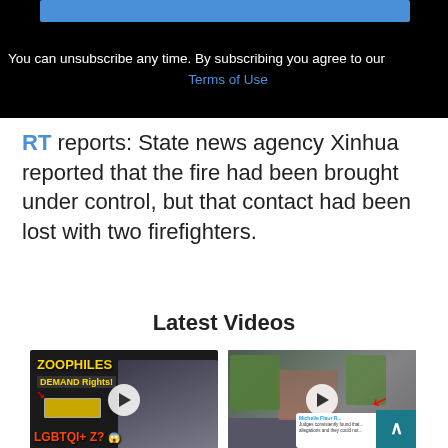[Figure (screenshot): Dark banner with blue bar at top and subscribe text: 'You can unsubscribe any time. By subscribing you agree to our Terms of Use']
RT reports: State news agency Xinhua reported that the fire had been brought under control, but that contact had been lost with two firefighters.
Latest Videos
[Figure (screenshot): Video thumbnail showing text 'ZOOPHILES DEMAND Rights! LGBTQI+ Z?' with a person lying down]
[Figure (screenshot): Video thumbnail showing police officers surrounding a person with red hair, with a tweet overlay and red arrow]